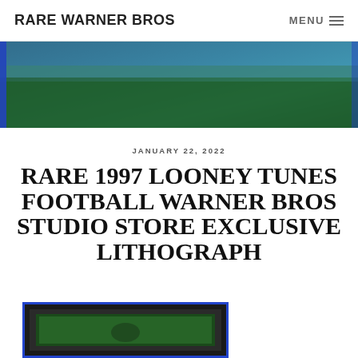RARE WARNER BROS
[Figure (photo): Banner image showing a green illustrated landscape scene, likely from Looney Tunes animation art]
JANUARY 22, 2022
RARE 1997 LOONEY TUNES FOOTBALL WARNER BROS STUDIO STORE EXCLUSIVE LITHOGRAPH
[Figure (photo): Partial view of a framed lithograph with blue border and dark mat, showing green background artwork]